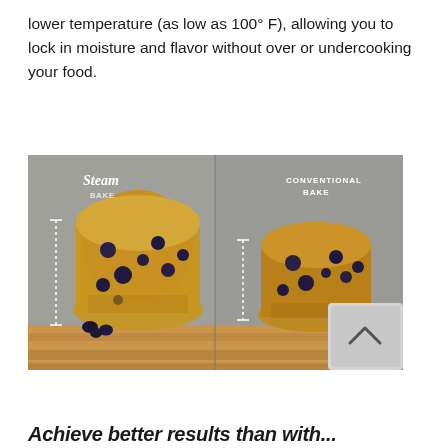lower temperature (as low as 100° F), allowing you to lock in moisture and flavor without over or undercooking your food.
[Figure (photo): Side-by-side comparison photo of two halved blueberry muffins on a wooden board. Left side labeled 'Steam Bake' shows a taller, larger muffin. Right side labeled 'Conventional Bake' shows a shorter, smaller muffin. Both have dotted height indicator lines. A back-to-top button (chevron up) overlays the bottom right corner.]
Achieve better results than with...